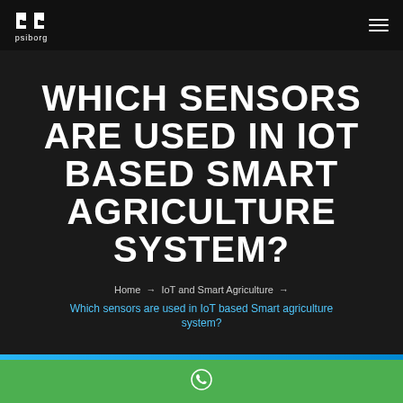psiborg
WHICH SENSORS ARE USED IN IOT BASED SMART AGRICULTURE SYSTEM?
Home → IoT and Smart Agriculture → Which sensors are used in IoT based Smart agriculture system?